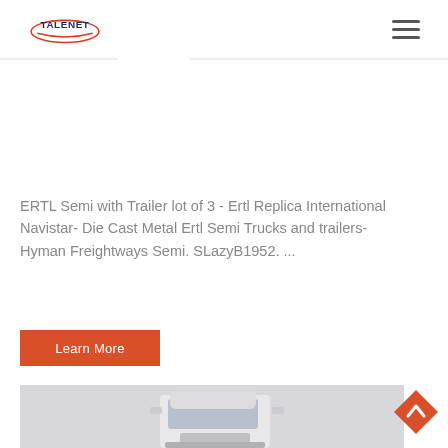TALENET [logo] [hamburger menu]
ERTL Semi with Trailer lot of 3 - Ertl Replica International Navistar- Die Cast Metal Ertl Semi Trucks and trailers- Hyman Freightways Semi. SLazyB1952. ...
Learn More
[Figure (photo): Front view of a white semi truck cab against a light gray background]